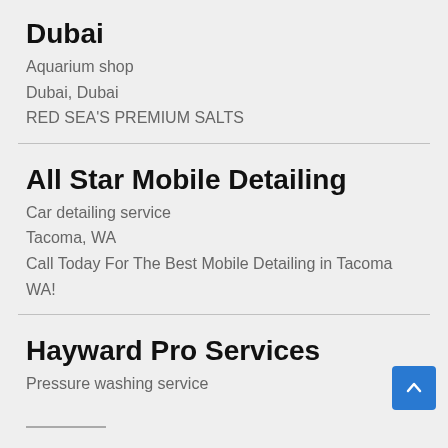Dubai
Aquarium shop
Dubai, Dubai
RED SEA'S PREMIUM SALTS
All Star Mobile Detailing
Car detailing service
Tacoma, WA
Call Today For The Best Mobile Detailing in Tacoma WA!
Hayward Pro Services
Pressure washing service